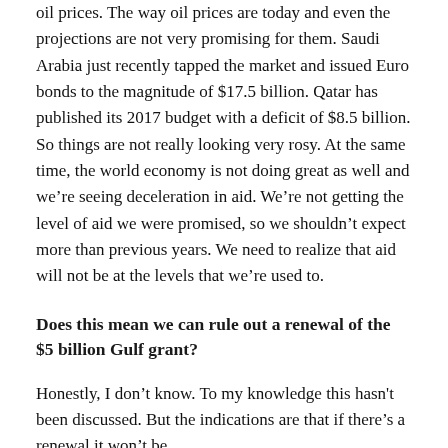oil prices. The way oil prices are today and even the projections are not very promising for them. Saudi Arabia just recently tapped the market and issued Euro bonds to the magnitude of $17.5 billion. Qatar has published its 2017 budget with a deficit of $8.5 billion. So things are not really looking very rosy. At the same time, the world economy is not doing great as well and we're seeing deceleration in aid. We're not getting the level of aid we were promised, so we shouldn't expect more than previous years. We need to realize that aid will not be at the levels that we're used to.
Does this mean we can rule out a renewal of the $5 billion Gulf grant?
Honestly, I don't know. To my knowledge this hasn't been discussed. But the indications are that if there's a renewal it won't be